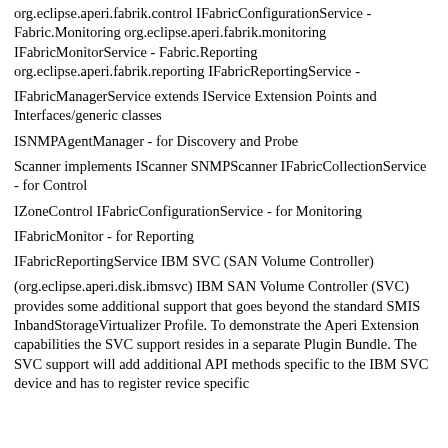org.eclipse.aperi.fabrik.control IFabricConfigurationService - Fabric.Monitoring org.eclipse.aperi.fabrik.monitoring IFabricMonitorService - Fabric.Reporting org.eclipse.aperi.fabrik.reporting IFabricReportingService -
IFabricManagerService extends IService Extension Points and Interfaces/generic classes
ISNMPAgentManager - for Discovery and Probe
Scanner implements IScanner SNMPScanner IFabricCollectionService - for Control
IZoneControl IFabricConfigurationService - for Monitoring
IFabricMonitor - for Reporting
IFabricReportingService IBM SVC (SAN Volume Controller)
(org.eclipse.aperi.disk.ibmsvc) IBM SAN Volume Controller (SVC) provides some additional support that goes beyond the standard SMIS InbandStorageVirtualizer Profile. To demonstrate the Aperi Extension capabilities the SVC support resides in a separate Plugin Bundle. The SVC support will add additional API methods specific to the IBM SVC device and has to register revice specific